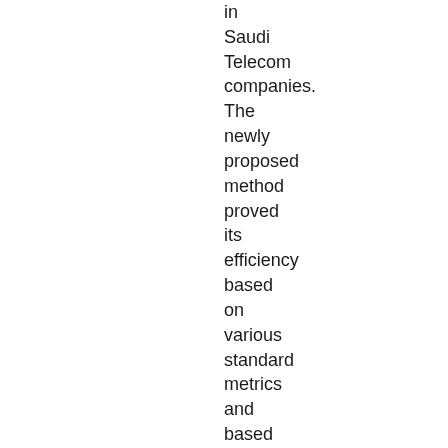in Saudi Telecom companies. The newly proposed method proved its efficiency based on various standard metrics and based on a comparison with